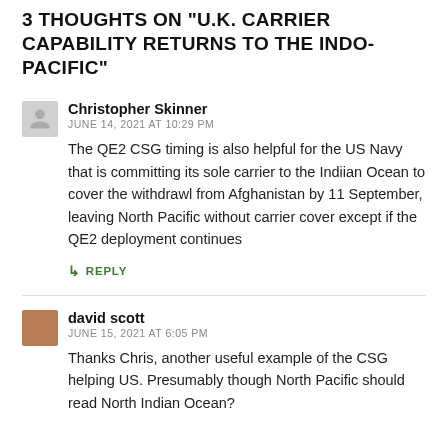3 THOUGHTS ON "U.K. CARRIER CAPABILITY RETURNS TO THE INDO-PACIFIC"
Christopher Skinner
JUNE 14, 2021 AT 10:29 PM
The QE2 CSG timing is also helpful for the US Navy that is committing its sole carrier to the Indiian Ocean to cover the withdrawl from Afghanistan by 11 September, leaving North Pacific without carrier cover except if the QE2 deployment continues
↳ REPLY
david scott
JUNE 15, 2021 AT 6:05 PM
Thanks Chris, another useful example of the CSG helping US. Presumably though North Pacific should read North Indian Ocean?